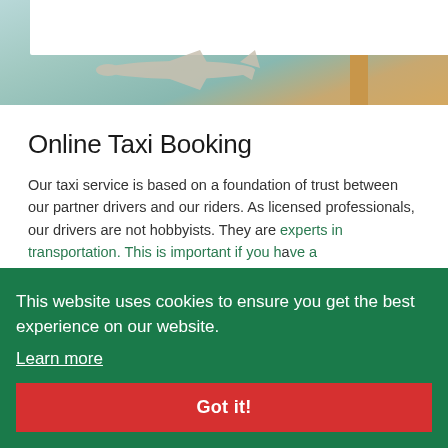[Figure (photo): Hero banner image showing an airplane silhouette against a teal/mint background with a tan/orange vertical accent element, and a white navigation bar at top]
Online Taxi Booking
Our taxi service is based on a foundation of trust between our partner drivers and our riders. As licensed professionals, our drivers are not hobbyists. They are experts in transportation. This is important if you have a flight... Smart... ks in gig-economy s... ders. With National Taxi Service UK, you're getting gold-standard transport every time. Looking for a long distance taxi UK service? Our booking engine quickly connects you with drivers. Need a taxi in London or rural Sussex? It's on offer, 24/7. Your confirmation is your peace of mind. It's our promise that
This website uses cookies to ensure you get the best experience on our website.
Learn more
Got it!